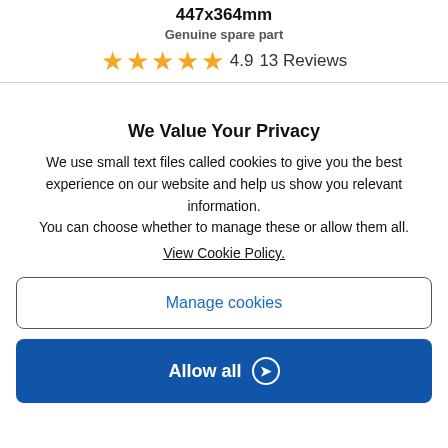447x364mm
Genuine spare part
4.9   13 Reviews
We Value Your Privacy
We use small text files called cookies to give you the best experience on our website and help us show you relevant information.
You can choose whether to manage these or allow them all. View Cookie Policy.
Manage cookies
Allow all